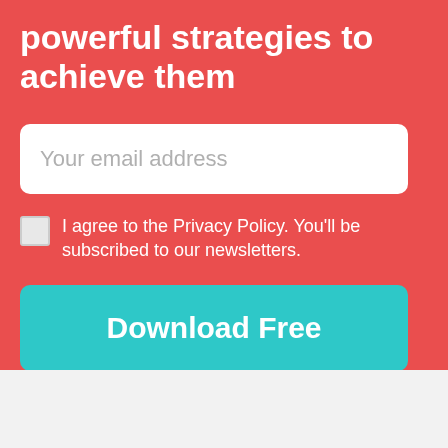powerful strategies to achieve them
Your email address
I agree to the Privacy Policy. You'll be subscribed to our newsletters.
Download Free